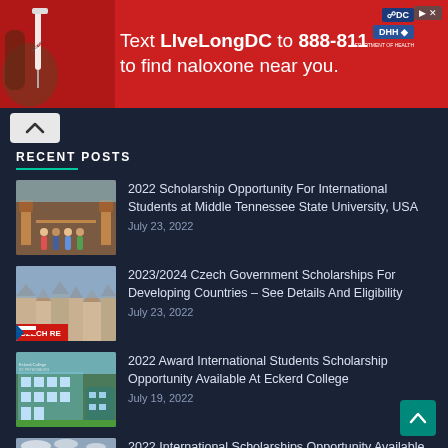[Figure (photo): Red advertisement banner: Text LiveLongDC to 888-811 to find naloxone near you. Features syringe image on left, DC and DHH logos on right.]
RECENT POSTS
2022 Scholarship Opportunity For International Students at Middle Tennessee State University, USA — July 23, 2022
2023/2024 Czech Government Scholarships For Developing Countries – See Details And Eligibility — July 23, 2022
2022 Award International Students Scholarship Opportunity Available At Eckerd College — July 19, 2022
2022 International Scholarships Opportunity Available at Birkbeck University of London – UK